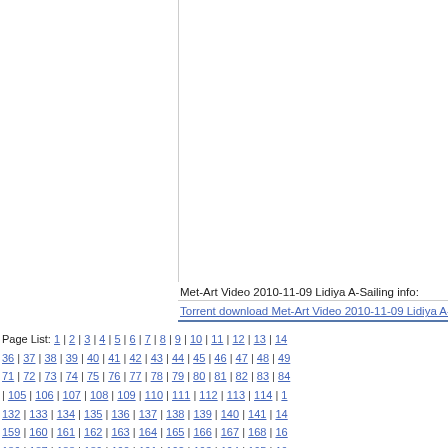[Figure (photo): White/blank image area with border, representing a video frame or photo placeholder for Met-Art Video 2010-11-09 Lidiya A-Sailing]
Met-Art Video 2010-11-09 Lidiya A-Sailing info:
Torrent download Met-Art Video 2010-11-09 Lidiya A-Sailing
Page List: 1 | 2 | 3 | 4 | 5 | 6 | 7 | 8 | 9 | 10 | 11 | 12 | 13 | 14 | 36 | 37 | 38 | 39 | 40 | 41 | 42 | 43 | 44 | 45 | 46 | 47 | 48 | 49 | 71 | 72 | 73 | 74 | 75 | 76 | 77 | 78 | 79 | 80 | 81 | 82 | 83 | 84 | | 105 | 106 | 107 | 108 | 109 | 110 | 111 | 112 | 113 | 114 | 1 | 132 | 133 | 134 | 135 | 136 | 137 | 138 | 139 | 140 | 141 | 14 | 159 | 160 | 161 | 162 | 163 | 164 | 165 | 166 | 167 | 168 | 16 | 186 | 187 | 188 | 189 | 190 | 191 | 192 | 193 | 194 | 195 | 19 | 213 | 214 | 215 | 216 | 217 | 218 | 219 | 220 | 221 | 222 | 22 | 240 | 241 | 242 | 243 | 244 | 245 | 246 | 247 | 248 | 249 | 25 | 267 | 268 | 269 | 270 | 271 | 272 | 273 | 274 | 275 | 276 | 27 | 294 | 295 | 296 | 297 | 298 | 299 | 300 | 301 | 302 | 303 | 30 | 321 | 322 | 323 | 324 | 325 | 326 | 327 | 328 | 329 | 30